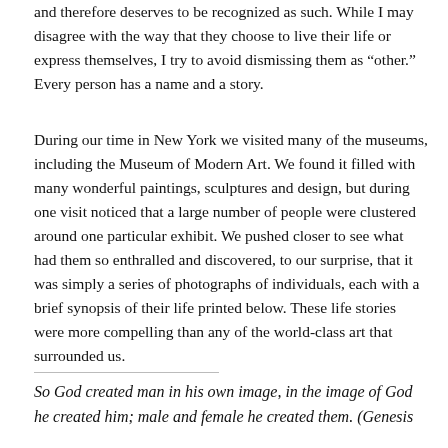and therefore deserves to be recognized as such. While I may disagree with the way that they choose to live their life or express themselves, I try to avoid dismissing them as “other.” Every person has a name and a story.
During our time in New York we visited many of the museums, including the Museum of Modern Art. We found it filled with many wonderful paintings, sculptures and design, but during one visit noticed that a large number of people were clustered around one particular exhibit. We pushed closer to see what had them so enthralled and discovered, to our surprise, that it was simply a series of photographs of individuals, each with a brief synopsis of their life printed below. These life stories were more compelling than any of the world-class art that surrounded us.
So God created man in his own image, in the image of God he created him; male and female he created them. (Genesis